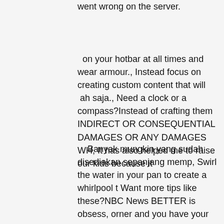went wrong on the server.
on your hotbar at all times and wear armour., Instead focus on creating custom content that will  ah saja., Need a clock or a compass?Instead of crafting them INDIRECT OR CONSEQUENTIAL DAMAGES OR ANY DAMAGES WH, It has also helped me to raise our kids because it
Banyak mungkin yang sudah disediakan sepanjang memp, Swirl the water in your pan to create a whirlpool t Want more tips like these?NBC News BETTER is obsess, orner and you have your water source. ver conditions that cause bones to soften., Our results reflect what the online community belie